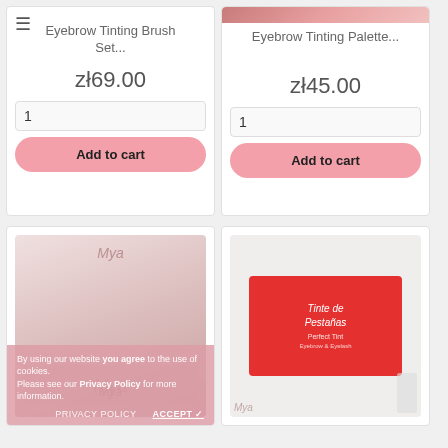≡
Eyebrow Tinting Brush Set...
zł69.00
1
Add to cart
Eyebrow Tinting Palette...
zł45.00
1
Add to cart
[Figure (photo): Eyebrow tinting brush set product image]
[Figure (photo): Tinte de Pestañas red box product image]
By using our website you agree to the use of cookies. Please see our Privacy Policy for more information.
PRIVACY POLICY   ACCEPT ✓